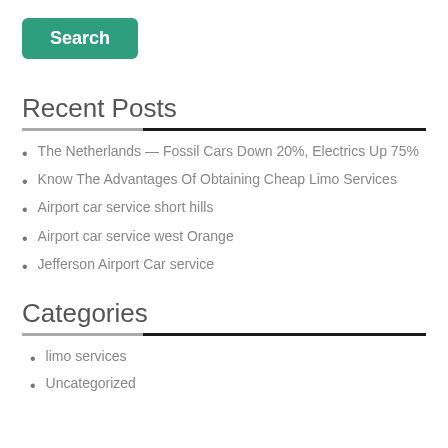[Figure (other): Green 'Search' button]
Recent Posts
The Netherlands — Fossil Cars Down 20%, Electrics Up 75%
Know The Advantages Of Obtaining Cheap Limo Services
Airport car service short hills
Airport car service west Orange
Jefferson Airport Car service
Categories
limo services
Uncategorized